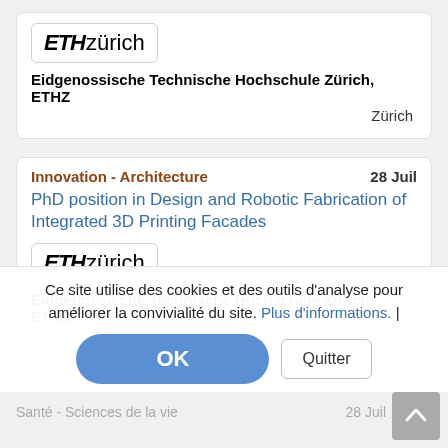[Figure (logo): ETH Zürich logo in a white rounded box]
Eidgenossische Technische Hochschule Zürich, ETHZ
Zürich
Innovation - Architecture
28 Juil
PhD position in Design and Robotic Fabrication of Integrated 3D Printing Facades
[Figure (logo): ETH Zürich logo in a white rounded box]
Eidgenossische Technische Hochschule Zürich, ETHZ
Ce site utilise des cookies et des outils d'analyse pour améliorer la convivialité du site. Plus d'informations. |
OK
Quitter
Santé - Sciences de la vie
28 Juil